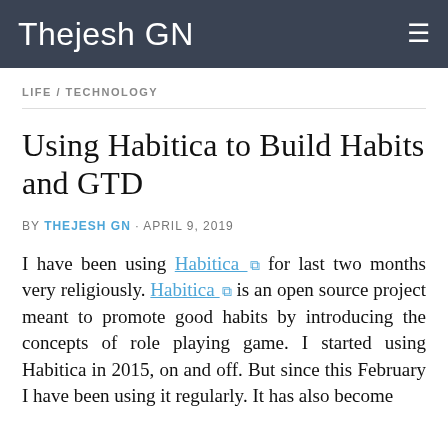Thejesh GN
LIFE / TECHNOLOGY
Using Habitica to Build Habits and GTD
BY THEJESH GN · APRIL 9, 2019
I have been using Habitica for last two months very religiously. Habitica is an open source project meant to promote good habits by introducing the concepts of role playing game. I started using Habitica in 2015, on and off. But since this February I have been using it regularly. It has also become